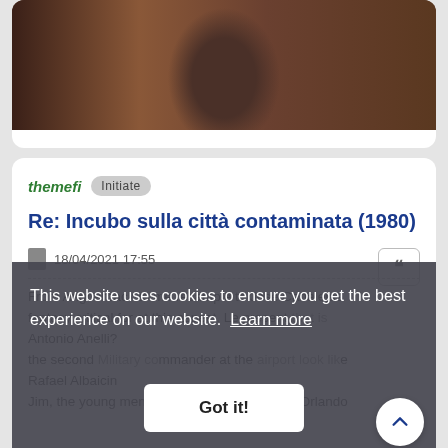[Figure (photo): Partial view of a man in a dark military-style uniform with a black tie, photographed from chest up against a dark background with ornate decorations]
themefi   Initiate
Re: Incubo sulla città contaminata (1980)
18/04/2021 17:55
From Angnerback to me resample to José Cañalejas
fantasy critical for at this aspect. Le present that is
Antonio Anelli?
the second Military commander at the airport look like
Rafael Albaicin
Jim, the young men at the hospital is Antonio Orlando
This website uses cookies to ensure you get the best experience on our website. Learn more
Got it!